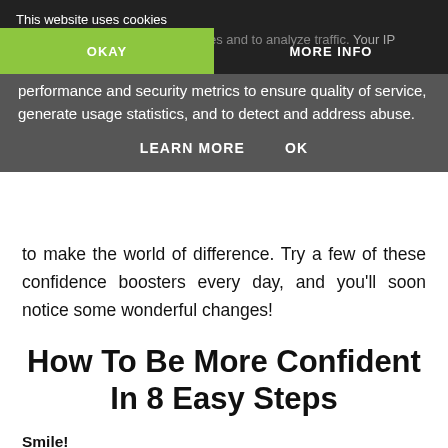This website uses cookies
...from Google to deliver its services and to analyze traffic. Your IP address and ...with Google ...performance and security metrics to ensure quality of service, generate usage statistics, and to detect and address abuse.
OKAY   MORE INFO
LEARN MORE   OK
to make the world of difference. Try a few of these confidence boosters every day, and you'll soon notice some wonderful changes!
How To Be More Confident In 8 Easy Steps
Smile!
Always smile! Even if you don't really feel like it,